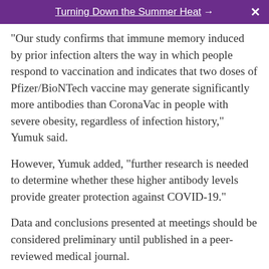Turning Down the Summer Heat →  X
"Our study confirms that immune memory induced by prior infection alters the way in which people respond to vaccination and indicates that two doses of Pfizer/BioNTech vaccine may generate significantly more antibodies than CoronaVac in people with severe obesity, regardless of infection history," Yumuk said.
However, Yumuk added, "further research is needed to determine whether these higher antibody levels provide greater protection against COVID-19."
Data and conclusions presented at meetings should be considered preliminary until published in a peer-reviewed medical journal.
More information
For more on COVID-19 vaccines, see the U.S. Centers